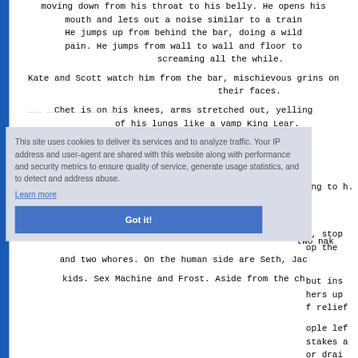moving down from his throat to his belly. He opens his mouth and lets out a noise similar to a train whistle. He jumps up from behind the bar, doing a wild dance of pain. He jumps from wall to wall and floor to ceiling, screaming all the while.
Kate and Scott watch him from the bar, mischievous grins on their faces.
Chet is on his knees, arms stretched out, yelling at the top of his lungs like a vamp King Lear.
[partially obscured by cookie overlay] ...ing to h...
[partially obscured] ...n, stop ...op the
[partially obscured] ...but ins ...hers up ...f relief
[partially obscured] ...ople lef ...stakes a ...or drai...
[partially obscured] ...two nak... and two whores. On the human side are Seth, Jac... kids. Sex Machine and Frost. Aside from the chi...
[Figure (screenshot): Cookie consent overlay dialog with text: 'This site uses cookies to deliver its services and to analyze traffic. Your IP address and user-agent are shared with this website along with performance and security metrics to ensure quality of service, generate usage statistics, and to detect and address abuse.' with a 'Learn more' link and a 'Got it!' button.]